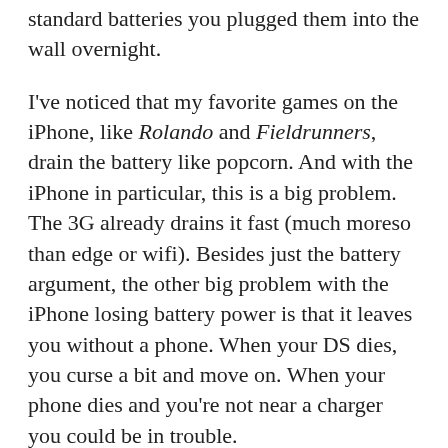standard batteries you plugged them into the wall overnight.
I've noticed that my favorite games on the iPhone, like Rolando and Fieldrunners, drain the battery like popcorn. And with the iPhone in particular, this is a big problem. The 3G already drains it fast (much moreso than edge or wifi). Besides just the battery argument, the other big problem with the iPhone losing battery power is that it leaves you without a phone. When your DS dies, you curse a bit and move on. When your phone dies and you're not near a charger you could be in trouble.
The iPhone does have some advantages as a gaming platform – unlike your DS, you will carry your iPhone with you everywhere you go. My wife and I have actually cut off our land line and just use our iPhones exclusively now (the only people, we noticed, who called us on our land line were our parents and telemarketers, and we can just have our parents call our new number). Playing with your DS in public as an adult could make you look silly – using your iPhone doesn't do the same. Plus, they